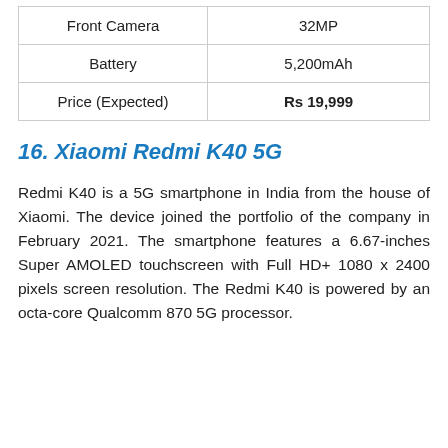| Front Camera | 32MP |
| Battery | 5,200mAh |
| Price (Expected) | Rs 19,999 |
16. Xiaomi Redmi K40 5G
Redmi K40 is a 5G smartphone in India from the house of Xiaomi. The device joined the portfolio of the company in February 2021. The smartphone features a 6.67-inches Super AMOLED touchscreen with Full HD+ 1080 x 2400 pixels screen resolution. The Redmi K40 is powered by an octa-core Qualcomm 870 5G processor.